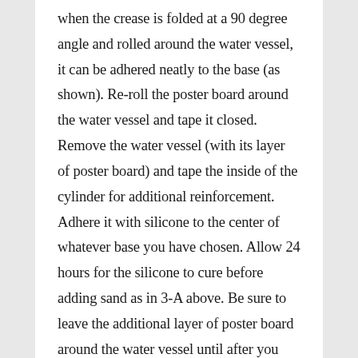when the crease is folded at a 90 degree angle and rolled around the water vessel, it can be adhered neatly to the base (as shown). Re-roll the poster board around the water vessel and tape it closed. Remove the water vessel (with its layer of poster board) and tape the inside of the cylinder for additional reinforcement. Adhere it with silicone to the center of whatever base you have chosen. Allow 24 hours for the silicone to cure before adding sand as in 3-A above. Be sure to leave the additional layer of poster board around the water vessel until after you have added the sand. This insures that after slight compression, the water vessel will still fit inside the home-made inner cylinder.